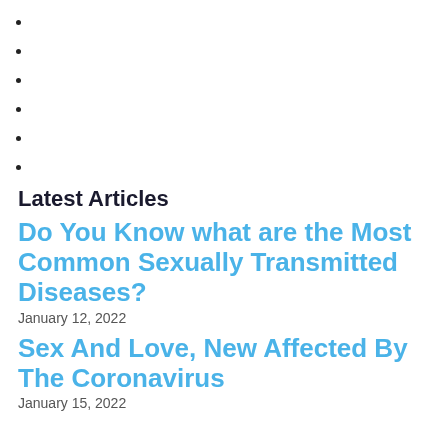Latest Articles
Do You Know what are the Most Common Sexually Transmitted Diseases?
January 12, 2022
Sex And Love, New Affected By The Coronavirus
January 15, 2022